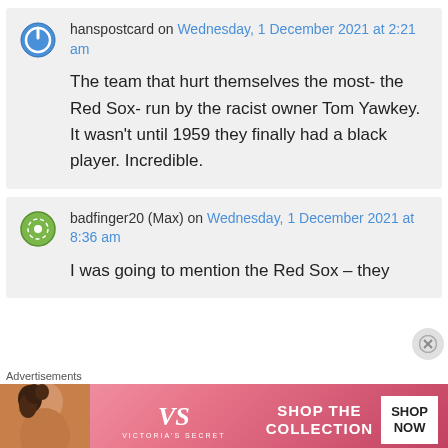hanspostcard on Wednesday, 1 December 2021 at 2:21 am
The team that hurt themselves the most- the Red Sox- run by the racist owner Tom Yawkey. It wasn't until 1959 they finally had a black player. Incredible.
badfinger20 (Max) on Wednesday, 1 December 2021 at 8:36 am
I was going to mention the Red Sox – they
Advertisements
[Figure (photo): Victoria's Secret advertisement banner with model, VS logo, SHOP THE COLLECTION text, and SHOP NOW button]